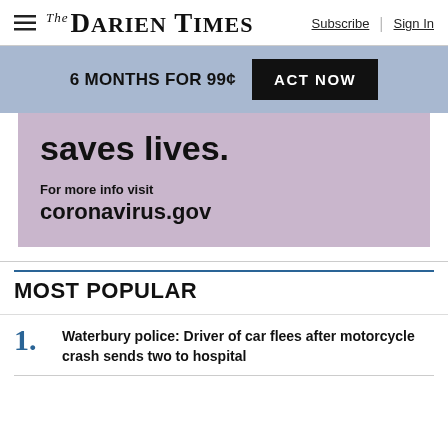The Darien Times | Subscribe | Sign In
6 MONTHS FOR 99¢ ACT NOW
[Figure (infographic): Purple/lavender ad block with bold text 'saves lives.' and 'For more info visit coronavirus.gov']
MOST POPULAR
1. Waterbury police: Driver of car flees after motorcycle crash sends two to hospital